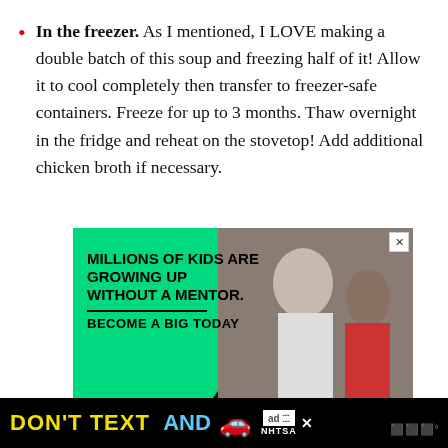In the freezer. As I mentioned, I LOVE making a double batch of this soup and freezing half of it! Allow it to cool completely then transfer to freezer-safe containers. Freeze for up to 3 months. Thaw overnight in the fridge and reheat on the stovetop! Add additional chicken broth if necessary.
[Figure (infographic): Advertisement banner: green and black background with photo of adult and child. Text reads 'MILLIONS OF KIDS ARE GROWING UP WITHOUT A MENTOR.' and 'BECOME A BIG TODAY']
[Figure (infographic): Bottom advertisement bar: black background with yellow text 'DON'T TEXT' and blue text 'AND' followed by a red car emoji. NHTSA ad badge visible. Close button and iW logo on right.]